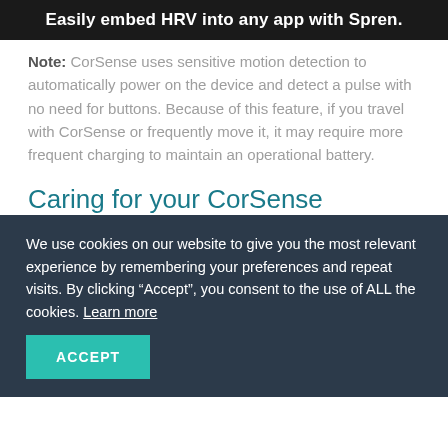Easily embed HRV into any app with Spren.
Note: CorSense uses sensitive motion detection to automatically power on the device and detect a pulse with no need for buttons. Because of this feature, if you travel with CorSense or frequently move it, it may require more frequent charging to maintain an operational battery.
Caring for your CorSense
We use cookies on our website to give you the most relevant experience by remembering your preferences and repeat visits. By clicking “Accept”, you consent to the use of ALL the cookies. Learn more
ACCEPT